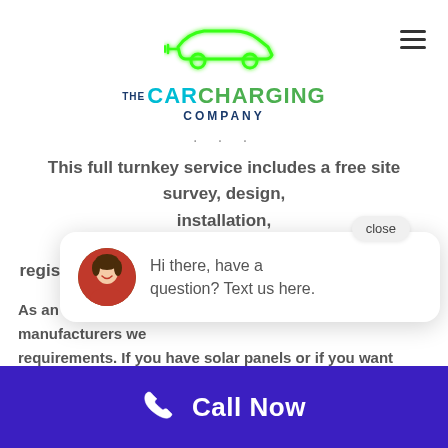[Figure (logo): The Car Charging Company logo with green car outline and plug SVG icon above stylized text]
This full turnkey service includes a free site survey, design, installation,
registration, billing, smart control, maintenance an...
As an approved ca... manufacturers we... requirements. If you have solar panels or if you want a... nk
[Figure (screenshot): Chat popup with close button, avatar photo of woman, and text: Hi there, have a question? Text us here.]
Call Now